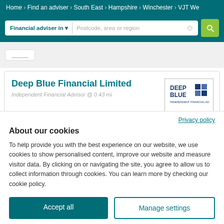Home > Find an adviser > South East > Hampshire > Winchester > VJT We
Financial adviser in ▾   Postcode, area or region
Deep Blue Financial Limited
Independent Financial Advisor @ 0.43 mi
Privacy policy
About our cookies
To help provide you with the best experience on our website, we use cookies to show personalised content, improve our website and measure visitor data. By clicking on or navigating the site, you agree to allow us to collect information through cookies. You can learn more by checking our cookie policy.
Accept all
Manage settings